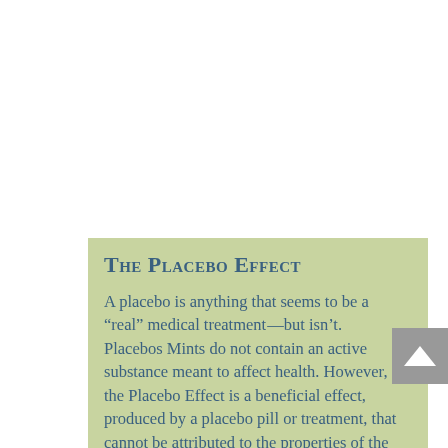The Placebo Effect
A placebo is anything that seems to be a “real” medical treatment—but isn’t. Placebos Mints do not contain an active substance meant to affect health. However, the Placebo Effect is a beneficial effect, produced by a placebo pill or treatment, that cannot be attributed to the properties of the